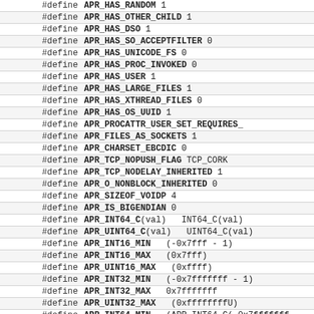|  | #define | APR_HAS_RANDOM 1 |
|  | #define | APR_HAS_OTHER_CHILD 1 |
|  | #define | APR_HAS_DSO 1 |
|  | #define | APR_HAS_SO_ACCEPTFILTER 0 |
|  | #define | APR_HAS_UNICODE_FS 0 |
|  | #define | APR_HAS_PROC_INVOKED 0 |
|  | #define | APR_HAS_USER 1 |
|  | #define | APR_HAS_LARGE_FILES 1 |
|  | #define | APR_HAS_XTHREAD_FILES 0 |
|  | #define | APR_HAS_OS_UUID 1 |
|  | #define | APR_PROCATTR_USER_SET_REQUIRES_ |
|  | #define | APR_FILES_AS_SOCKETS 1 |
|  | #define | APR_CHARSET_EBCDIC 0 |
|  | #define | APR_TCP_NOPUSH_FLAG TCP_CORK |
|  | #define | APR_TCP_NODELAY_INHERITED 1 |
|  | #define | APR_O_NONBLOCK_INHERITED 0 |
|  | #define | APR_SIZEOF_VOIDP 4 |
|  | #define | APR_IS_BIGENDIAN 0 |
|  | #define | APR_INT64_C(val) INT64_C(val) |
|  | #define | APR_UINT64_C(val) UINT64_C(val) |
|  | #define | APR_INT16_MIN (-0x7fff - 1) |
|  | #define | APR_INT16_MAX (0x7fff) |
|  | #define | APR_UINT16_MAX (0xffff) |
|  | #define | APR_INT32_MIN (-0x7fffffff - 1) |
|  | #define | APR_INT32_MAX 0x7fffffff |
|  | #define | APR_UINT32_MAX (0xffffffffU) |
|  | #define | APR_INT64_MIN (APR_INT64_C(-0x7fffffff |